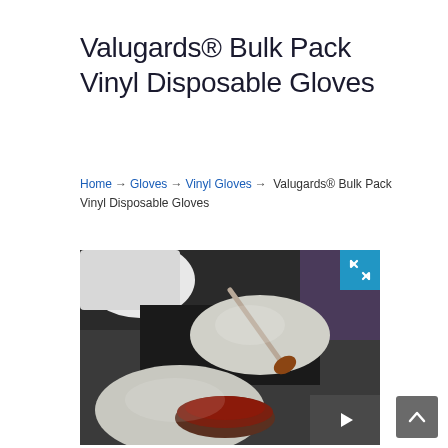Valugards® Bulk Pack Vinyl Disposable Gloves
Home → Gloves → Vinyl Gloves → Valugards® Bulk Pack Vinyl Disposable Gloves
[Figure (photo): Person wearing white vinyl disposable gloves handling food with a spoon and small bowl containing sauce]